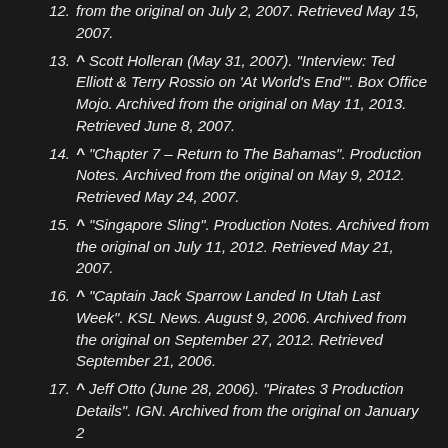from the original on July 2, 2007. Retrieved May 15, 2007.
^ Scott Holleran (May 31, 2007). "Interview: Ted Elliott & Terry Rossio on 'At World's End'". Box Office Mojo. Archived from the original on May 11, 2013. Retrieved June 8, 2007.
^ "Chapter 7 – Return to The Bahamas". Production Notes. Archived from the original on May 9, 2012. Retrieved May 24, 2007.
^ "Singapore Sling". Production Notes. Archived from the original on July 11, 2012. Retrieved May 21, 2007.
^ "Captain Jack Sparrow Landed In Utah Last Week". KSL News. August 9, 2006. Archived from the original on September 27, 2012. Retrieved September 21, 2006.
^ Jeff Otto (June 28, 2006). "Pirates 3 Production Details". IGN. Archived from the original on January 2